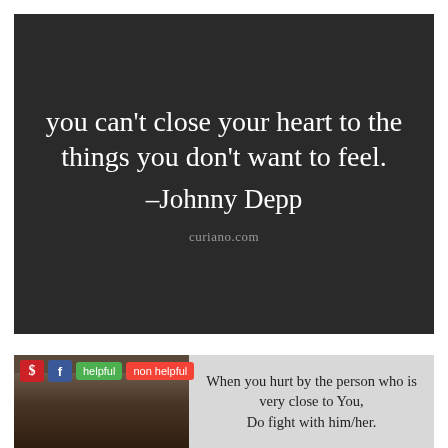[Figure (illustration): Dark background quote card with white text: 'you can't close your heart to the things you don't want to feel. —Johnny Depp' with curiano.com watermark]
[Figure (infographic): Social media post with Pinterest and Facebook buttons, helpful/non helpful buttons, photo of a person's face, and text: 'When you hurt by the person who is very close to You, Do fight with him/her.']